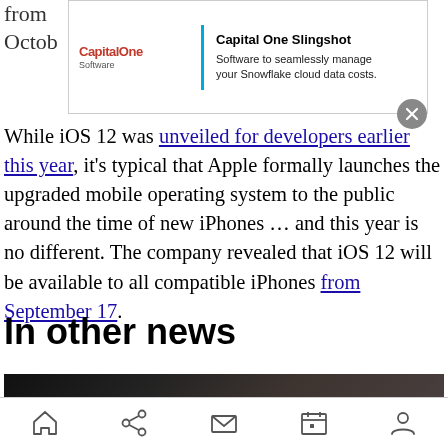from
Octob
[Figure (other): Capital One Software advertisement banner for Capital One Slingshot - Software to seamlessly manage your Snowflake cloud data costs]
While iOS 12 was unveiled for developers earlier this year, it's typical that Apple formally launches the upgraded mobile operating system to the public around the time of new iPhones … and this year is no different. The company revealed that iOS 12 will be available to all compatible iPhones from September 17.
In other news
[Figure (photo): Dark photograph, partially visible at bottom of page]
Navigation bar with home, share, mail, calendar, and person icons